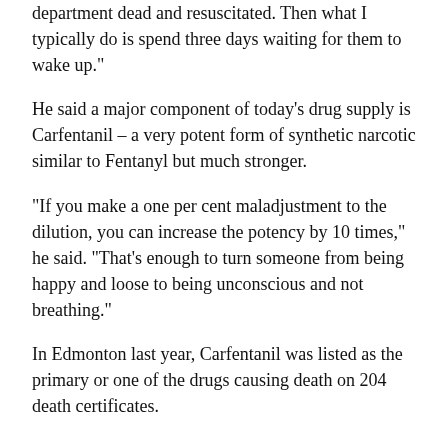department dead and resuscitated. Then what I typically do is spend three days waiting for them to wake up."
He said a major component of today’s drug supply is Carfentanil – a very potent form of synthetic narcotic similar to Fentanyl but much stronger.
“If you make a one per cent maladjustment to the dilution, you can increase the potency by 10 times," he said. "That’s enough to turn someone from being happy and loose to being unconscious and not breathing."
In Edmonton last year, Carfentanil was listed as the primary or one of the drugs causing death on 204 death certificates.